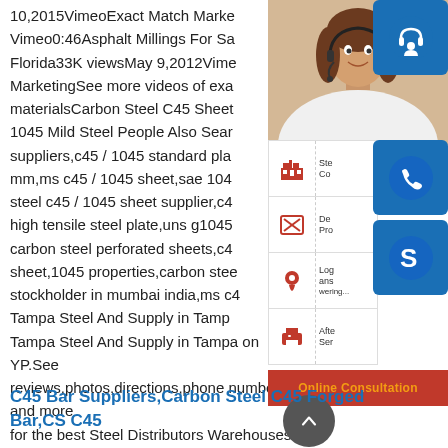10,2015VimeoExact Match MarketingVimeo0:46Asphalt Millings For SaFlorida33K viewsMay 9,2012VimeoMarketingSee more videos of examaterialsCarbon Steel C45 Sheet1045 Mild Steel People Also Searsuppliers,c45 / 1045 standard plam,ms c45 / 1045 sheet,sae 1045 steel c45 / 1045 sheet supplier,c45 high tensile steel plate,uns g1045carbon steel perforated sheets,c45sheet,1045 properties,carbon steestockholder in mumbai india,ms c45Tampa Steel And Supply in TampaTampa Steel And Supply in Tampa on YP.See reviews,photos,directions,phone numbers and more for the best Steel Distributors Warehouses in Tampa,FL.
[Figure (photo): Photo of a smiling woman with a headset (customer service representative), partially visible in the upper right, with a blue customer service icon panel overlaid showing headset icon, phone icon, and Skype icon with service category labels, plus an Online Consultation red bar at the bottom]
C45 Bar Suppliers,Carbon Steel C45 Forged Bar,CS C45